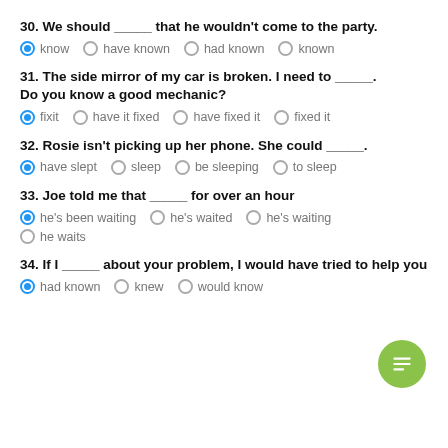30. We should _____ that he wouldn't come to the party.
31. The side mirror of my car is broken. I need to _____. Do you know a good mechanic?
32. Rosie isn't picking up her phone. She could _____.
33. Joe told me that _____ for over an hour
34. If I _____ about your problem, I would have tried to help you